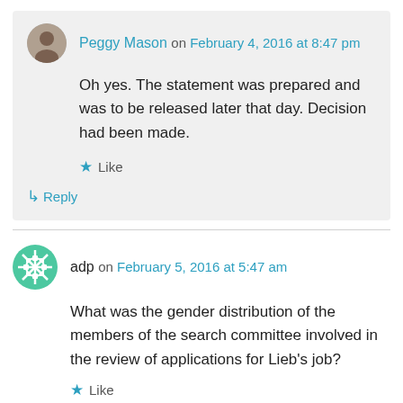Peggy Mason on February 4, 2016 at 8:47 pm
Oh yes. The statement was prepared and was to be released later that day. Decision had been made.
Like
Reply
adp on February 5, 2016 at 5:47 am
What was the gender distribution of the members of the search committee involved in the review of applications for Lieb's job?
Like